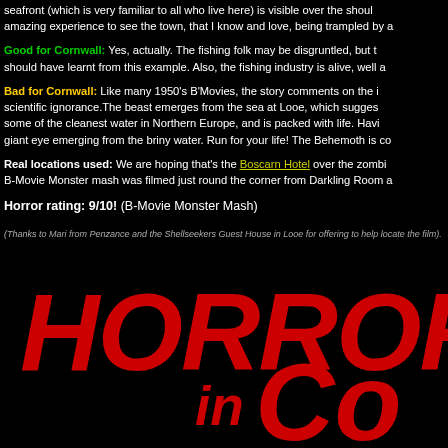seafront (which is very familiar to all who live here) is visible over the shoulders of the zombie hordes. It is an amazing experience to see the town, that I know and love, being trampled by a giant sea monster!
Good for Cornwall: Yes, actually. The fishing folk may be disgruntled, but the tourist board should have learnt from this example. Also, the fishing industry is alive, well and kicking.
Bad for Cornwall: Like many 1950's B'Movies, the story comments on the irresponsibility of scientific ignorance.The beast emerges from the sea at Looe, which suggests that Looe has some of the cleanest water in Northern Europe, and is packed with life. Having said that, a giant eye emerging from the briny water. Run for your life! The Behemoth is coming!
Real locations used: We are hoping that's the Boscarn Hotel over the zombie's shoulder. The B-Movie Monster mash was filmed just round the corner from Darkling Room at Looe.
Horror rating: 9/10! (B-Movie Monster Mash)
(Thanks to Mari from Penzance and the Shellseekers Guest House in Looe for offering to help locate the film).
[Figure (logo): Horror in Cornwall logo in large red distressed text on black background]